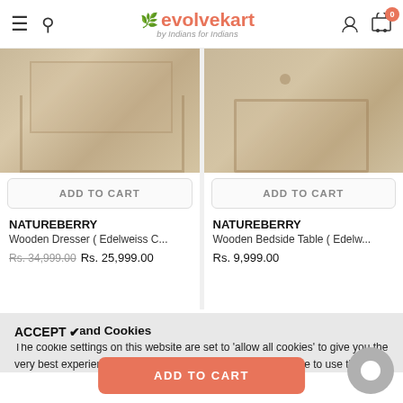evolvekart by Indians for Indians
[Figure (screenshot): Two product images side by side: left shows a wooden dresser (Edelweiss Collection), right shows a wooden bedside table (Edelweiss Collection). Both have ADD TO CART buttons below the images.]
ADD TO CART
ADD TO CART
NATUREBERRY
Wooden Dresser ( Edelweiss C...
Rs. 34,999.00  Rs. 25,999.00
NATUREBERRY
Wooden Bedside Table ( Edelw...
Rs. 9,999.00
Evolvekart and Cookies
The cookie settings on this website are set to 'allow all cookies' to give you the very best experience. Please click Accept Cookies to continue to use the site.
ACCEPT ✔
ADD TO CART